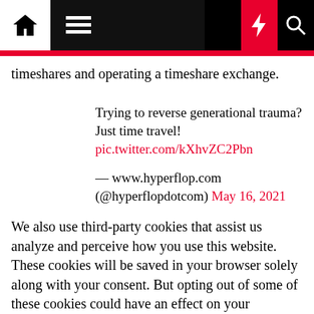Navigation bar with home, menu, dark mode, lightning, and search icons
timeshares and operating a timeshare exchange.
Trying to reverse generational trauma? Just time travel! pic.twitter.com/kXhvZC2Pbn

— www.hyperflop.com (@hyperflopdotcom) May 16, 2021
We also use third-party cookies that assist us analyze and perceive how you use this website. These cookies will be saved in your browser solely along with your consent. But opting out of some of these cookies could have an effect on your browsing experience. This website makes use of Lead Forensics to trace website usage for companies predominantly via IP addresses that are registered